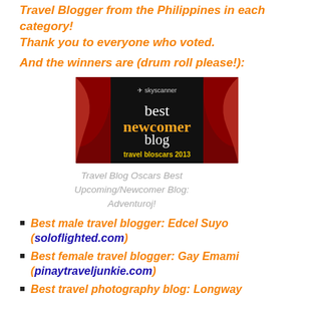Travel Blogger from the Philippines in each category! Thank you to everyone who voted.
And the winners are (drum roll please!):
[Figure (photo): Skyscanner Travel Bloscars 2013 Best Newcomer Blog award banner image with red curtains on dark background]
Travel Blog Oscars Best Upcoming/Newcomer Blog: Adventuroj!
Best male travel blogger: Edcel Suyo (soloflighted.com)
Best female travel blogger: Gay Emami (pinaytraveljunkie.com)
Best travel photography blog: Longway...